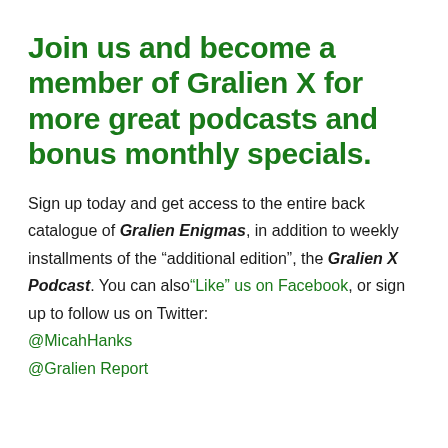Join us and become a member of Gralien X for more great podcasts and bonus monthly specials.
Sign up today and get access to the entire back catalogue of Gralien Enigmas, in addition to weekly installments of the “additional edition”, the Gralien X Podcast. You can also“Like” us on Facebook, or sign up to follow us on Twitter: @MicahHanks @Gralien Report